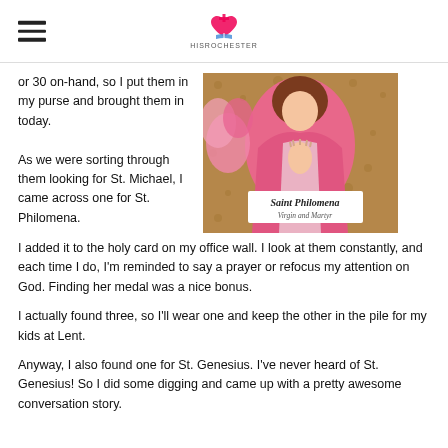HISROCHESTER (logo)
or 30 on-hand, so I put them in my purse and brought them in today.
[Figure (photo): A holy card for Saint Philomena, Virgin and Martyr, showing a woman in pink robes with hands clasped in prayer, pinned to a cork bulletin board.]
As we were sorting through them looking for St. Michael, I came across one for St. Philomena.  I added it to the holy card on my office wall.  I look at them constantly, and each time I do, I'm reminded to say a prayer or refocus my attention on God.  Finding her medal was a nice bonus.
I actually found three, so I'll wear one and keep the other in the pile for my kids at Lent.
Anyway, I also found one for St. Genesius.  I've never heard of St. Genesius!  So I did some digging and came up with a pretty awesome conversation story.